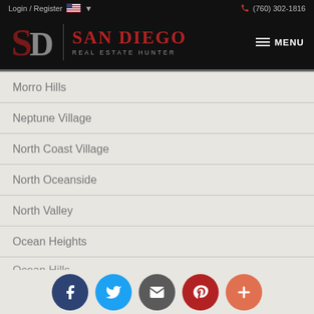Login / Register  (760) 302-1816
[Figure (logo): San Diego Real Estate Hunter logo with SD monogram on black background, MENU button on right]
Morro Hills
Neptune Village
North Coast Village
North Oceanside
North Valley
Ocean Heights
Ocean Hills
Facebook Twitter Email Pinterest More